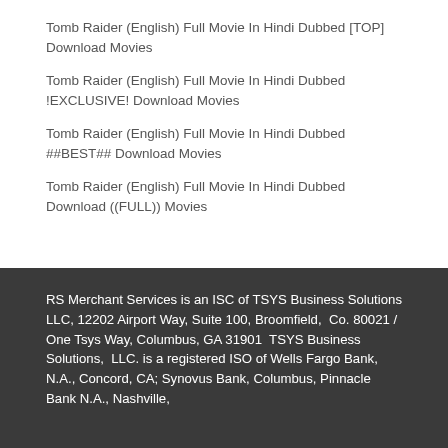Tomb Raider (English) Full Movie In Hindi Dubbed [TOP] Download Movies
Tomb Raider (English) Full Movie In Hindi Dubbed !EXCLUSIVE! Download Movies
Tomb Raider (English) Full Movie In Hindi Dubbed ##BEST## Download Movies
Tomb Raider (English) Full Movie In Hindi Dubbed Download ((FULL)) Movies
RS Merchant Services is an ISC of TSYS Business Solutions LLC, 12202 Airport Way, Suite 100, Broomfield,  Co. 80021 / One Tsys Way, Columbus, GA 31901  TSYS Business Solutions,  LLC. is a registered ISO of Wells Fargo Bank, N.A., Concord, CA; Synovus Bank, Columbus, Pinnacle Bank N.A., Nashville,